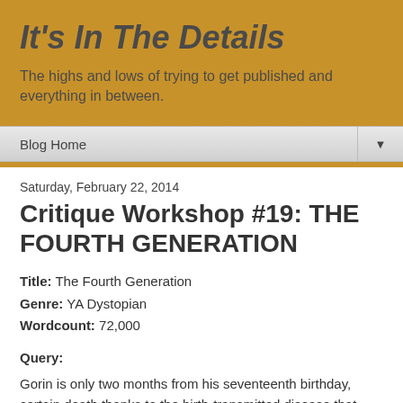It's In The Details
The highs and lows of trying to get published and everything in between.
Blog Home
Saturday, February 22, 2014
Critique Workshop #19: THE FOURTH GENERATION
Title: The Fourth Generation
Genre: YA Dystopian
Wordcount: 72,000
Query:
Gorin is only two months from his seventeenth birthday, certain death thanks to the birth-transmitted disease that